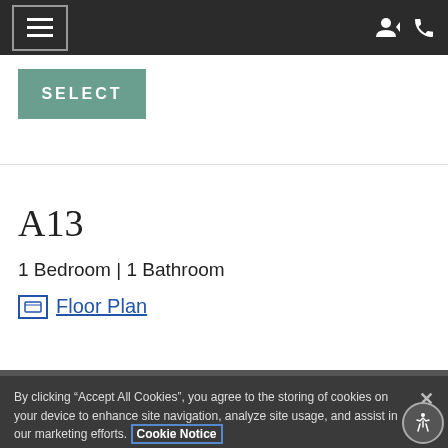Navigation bar with hamburger menu, user icon, and phone icon
SELECT
A13
1 Bedroom | 1 Bathroom
Floor Plan
By clicking “Accept All Cookies”, you agree to the storing of cookies on your device to enhance site navigation, analyze site usage, and assist in our marketing efforts. Cookie Notice
Cookies Settings
Accept All Cookies